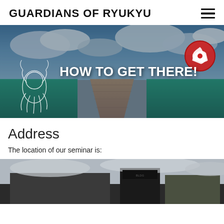GUARDIANS OF RYUKYU
[Figure (photo): Hero banner image of a pier extending into turquoise ocean water under a dramatic cloudy sky, with a white stylized creature logo on the left and a red circular emblem on the right. Bold white text reads 'HOW TO GET THERE!']
Address
The location of our seminar is:
[Figure (photo): Bottom portion of a photo showing a building exterior under an overcast sky, partially cut off at the bottom of the page.]